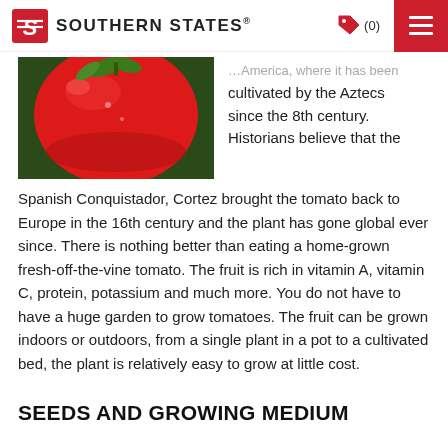Southern States® (0)
[Figure (photo): Close-up photo of a ripe red tomato on the vine with green leaves visible]
...America, where it has been cultivated by the Aztecs since the 8th century. Historians believe that the Spanish Conquistador, Cortez brought the tomato back to Europe in the 16th century and the plant has gone global ever since. There is nothing better than eating a home-grown fresh-off-the-vine tomato. The fruit is rich in vitamin A, vitamin C, protein, potassium and much more. You do not have to have a huge garden to grow tomatoes. The fruit can be grown indoors or outdoors, from a single plant in a pot to a cultivated bed, the plant is relatively easy to grow at little cost.
SEEDS AND GROWING MEDIUM